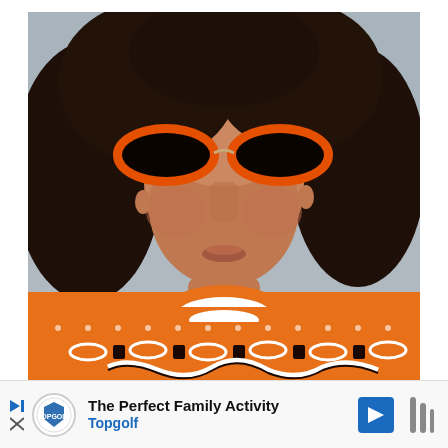[Figure (photo): Close-up portrait of a young woman with short dark wavy hair wearing bold orange oval sunglasses and an orange knit sweater with black and white paisley/bandana pattern. White mock-neck collar visible. Background is a neutral wall.]
The Perfect Family Activity
Topgolf